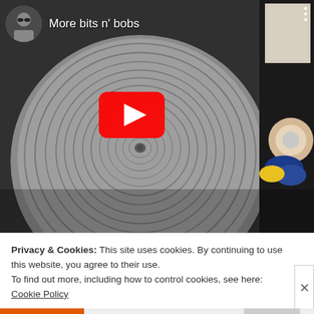[Figure (screenshot): YouTube video thumbnail showing a spinning foam roll/disc with a tape dispenser in the background. Video title overlay reads 'More bits n' bobs' with a user avatar in the top left. A red YouTube play button is centered on the video.]
Privacy & Cookies: This site uses cookies. By continuing to use this website, you agree to their use.
To find out more, including how to control cookies, see here: Cookie Policy
Close and accept